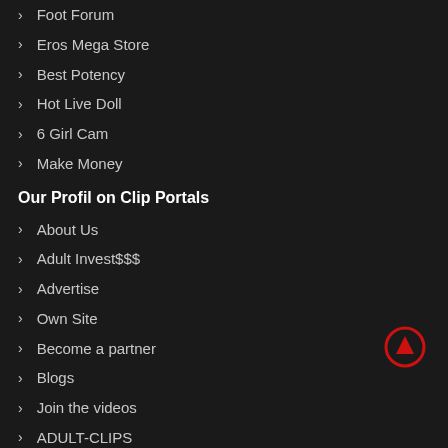Foot Forum
Eros Mega Store
Best Potency
Hot Live Doll
6 Girl Cam
Make Money
Our Profil on Clip Portals
About Us
Adult Invest$$$
Advertise
Own Site
Become a partner
Blogs
Join the videos
ADULT-CLIPS
Our Profile on Tubes, Forums etc
FETISHTUBEX